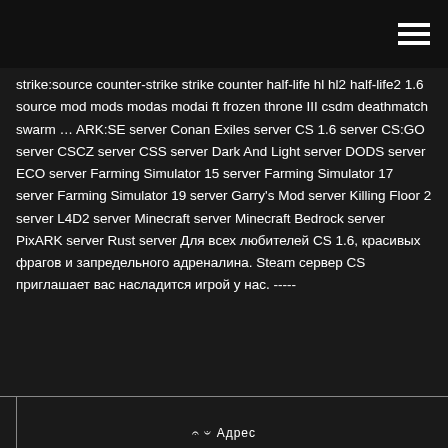strike:source counter-strike strike counter half-life hl hl2 half-life2 1.6 source mod mods modas modai ft frozen throne III csdm deathmatch swarm … ARK:SE server Conan Exiles server CS 1.6 server CS:GO server CSCZ server CSS server Dark And Light server DODS server ECO server Farming Simulator 15 server Farming Simulator 17 server Farming Simulator 19 server Garry's Mod server Killing Floor 2 server L4D2 server Minecraft server Minecraft Bedrock server PixARK server Rust server Для всех любителей CS 1.6, красивых фрагов и запредельного адреналина. Steam сервер CS приглашает вас насладится игрой у нас. -----